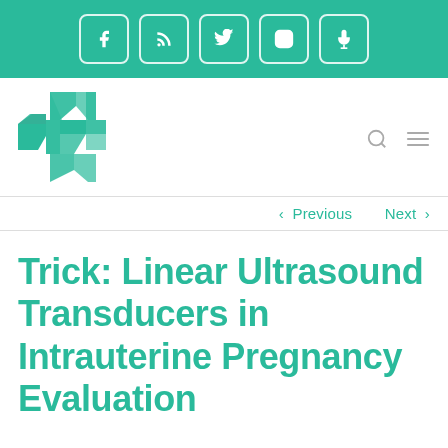Social media icon bar with Facebook, RSS, Twitter, Instagram, Microphone icons
[Figure (logo): Medical organization logo: green cross shape with fragmented/mosaic pattern]
< Previous   Next >
Trick: Linear Ultrasound Transducers in Intrauterine Pregnancy Evaluation